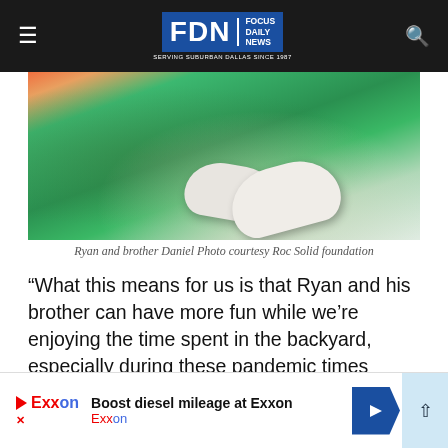FDN Focus Daily News — Serving Suburban Dallas Since 1987
[Figure (photo): Close-up photo of two children's sneakers/shoes on a green playground slide — Ryan and his brother Daniel]
Ryan and brother Daniel Photo courtesy Roc Solid foundation
“What this means for us is that Ryan and his brother can have more fun while we’re enjoying the time spent in the backyard, especially during these pandemic times where we continue to have a pretty isolated lifestyle and don’t get to go to other public places as much.”
[Figure (other): Advertisement: Exxon — Boost diesel mileage at Exxon]